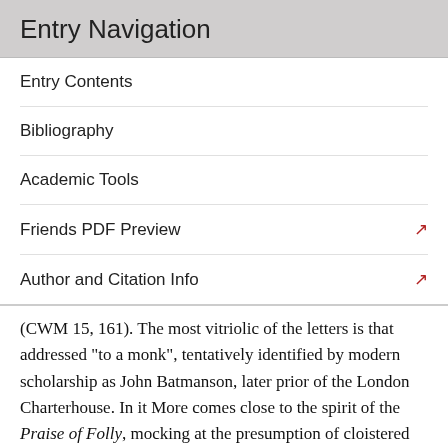Entry Navigation
Entry Contents
Bibliography
Academic Tools
Friends PDF Preview
Author and Citation Info
(CWM 15, 161). The most vitriolic of the letters is that addressed “to a monk”, tentatively identified by modern scholarship as John Batmanson, later prior of the London Charterhouse. In it More comes close to the spirit of the Praise of Folly, mocking at the presumption of cloistered religious who, “perched on a sunbeam, look down from the heights on the general populace creeping like ants on the ground…” (CWM 15, 279). It certainly shows him at his most anti-clerical, but the underlying theme is the importance of Greek, and consequently of Erasmus’ contribution, to the renewal of theology. As things turned